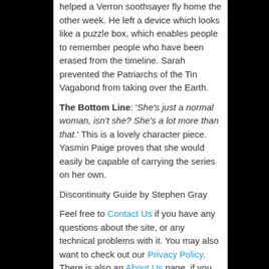helped a Verron soothsayer fly home the other week. He left a device which looks like a puzzle box, which enables people to remember people who have been erased from the timeline. Sarah prevented the Patriarchs of the Tin Vagabond from taking over the Earth.
The Bottom Line: 'She's just a normal woman, isn't she? She's a lot more than that.' This is a lovely character piece. Yasmin Paige proves that she would easily be capable of carrying the series on her own.
Discontinuity Guide by Stephen Gray
Feel free to Contact Us if you have any questions about the site, or any technical problems with it. You may also want to check out our Privacy Policy. There is also an About Us page, if you really want to read one.
Add new comment
Your name